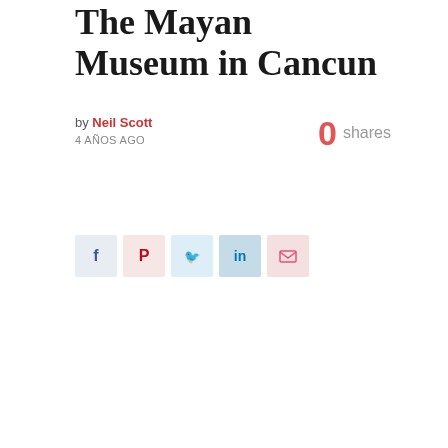The Mayan Museum in Cancun
by Neil Scott
4 AÑOS AGO
0 shares
[Figure (infographic): Social share buttons: Facebook, Pinterest, Twitter, LinkedIn, Email]